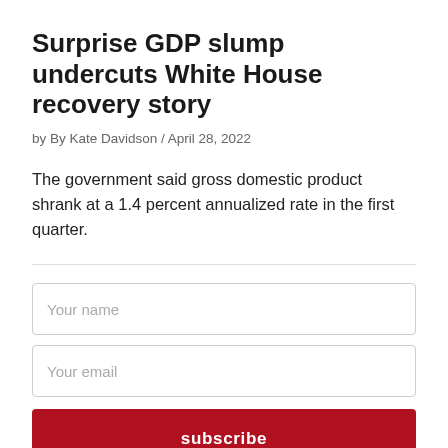Surprise GDP slump undercuts White House recovery story
by By Kate Davidson / April 28, 2022
The government said gross domestic product shrank at a 1.4 percent annualized rate in the first quarter.